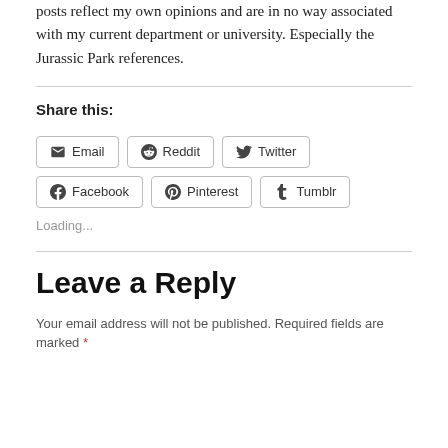posts reflect my own opinions and are in no way associated with my current department or university. Especially the Jurassic Park references.
Share this:
Email Reddit Twitter Facebook Pinterest Tumblr
Loading...
Leave a Reply
Your email address will not be published. Required fields are marked *